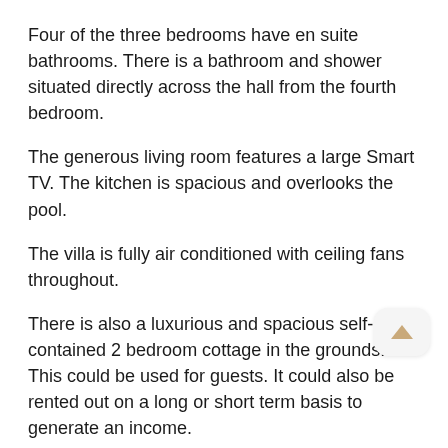Four of the three bedrooms have en suite bathrooms. There is a bathroom and shower situated directly across the hall from the fourth bedroom.
The generous living room features a large Smart TV. The kitchen is spacious and overlooks the pool.
The villa is fully air conditioned with ceiling fans throughout.
There is also a luxurious and spacious self-contained 2 bedroom cottage in the grounds. This could be used for guests. It could also be rented out on a long or short term basis to generate an income.
All living spaces at Villa Des Anges are designed for relaxed & spacious Caribbean living.
There are several open and airy indoor / outdoor living and entertainment spaces.
The floor plan...